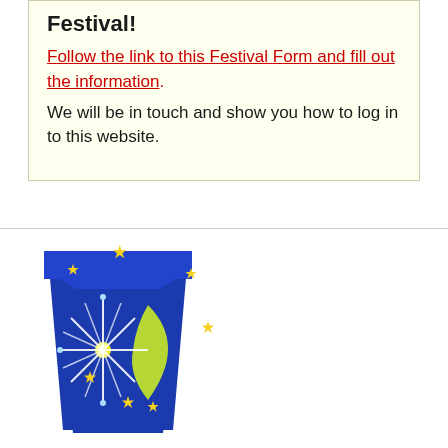Festival!
Follow the link to this Festival Form and fill out the information.
We will be in touch and show you how to log in to this website.
[Figure (logo): Festival logo: a blue keystone shape with white fireworks, a yellow crescent moon, yellow stars scattered around, on a white background.]